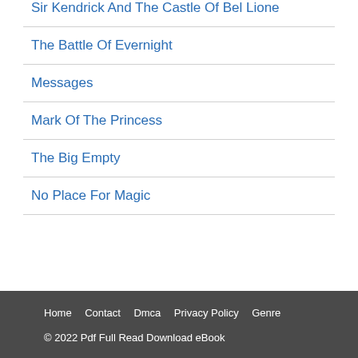Sir Kendrick And The Castle Of Bel Lione
The Battle Of Evernight
Messages
Mark Of The Princess
The Big Empty
No Place For Magic
Home  Contact  Dmca  Privacy Policy  Genre
© 2022 Pdf Full Read Download eBook